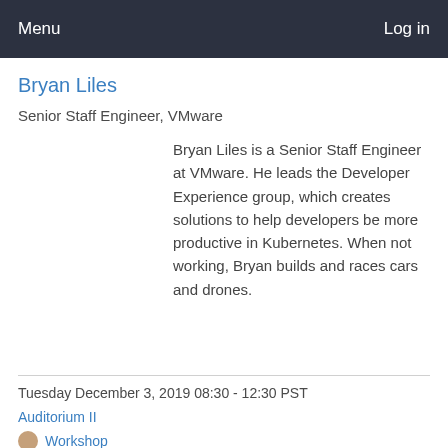Menu  Log in
Bryan Liles
Senior Staff Engineer, VMware
Bryan Liles is a Senior Staff Engineer at VMware. He leads the Developer Experience group, which creates solutions to help developers be more productive in Kubernetes. When not working, Bryan builds and races cars and drones.
Tuesday December 3, 2019 08:30 - 12:30 PST
Auditorium II
Workshop